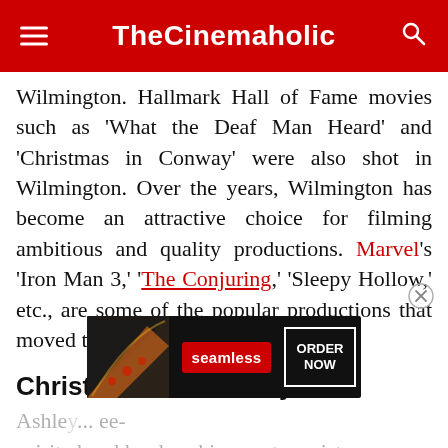TheCinemaholic
Wilmington. Hallmark Hall of Fame movies such as ‘What the Deaf Man Heard’ and ‘Christmas in Conway’ were also shot in Wilmington. Over the years, Wilmington has become an attractive choice for filming ambitious and quality productions. Marvel’s ‘Iron Man 3,’ ‘The Conjuring,’ ‘Sleepy Hollow,’ etc., are some of the popular productions that moved to Wilmington for shooting.
Christmas in Harmony Cast
Ashley... ee-spirited and hardworking protagonist,
[Figure (screenshot): Seamless food delivery advertisement banner with pizza image on the left, red Seamless logo in the center, and ORDER NOW button on the right.]